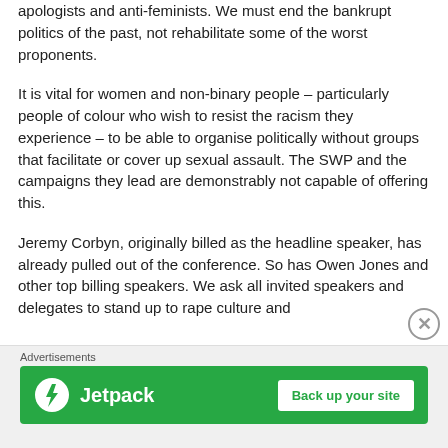apologists and anti-feminists. We must end the bankrupt politics of the past, not rehabilitate some of the worst proponents.
It is vital for women and non-binary people – particularly people of colour who wish to resist the racism they experience – to be able to organise politically without groups that facilitate or cover up sexual assault. The SWP and the campaigns they lead are demonstrably not capable of offering this.
Jeremy Corbyn, originally billed as the headline speaker, has already pulled out of the conference. So has Owen Jones and other top billing speakers. We ask all invited speakers and delegates to stand up to rape culture and
Advertisements
[Figure (other): Jetpack advertisement banner with green background, Jetpack logo and lightning bolt icon on the left, and a 'Back up your site' button on the right.]